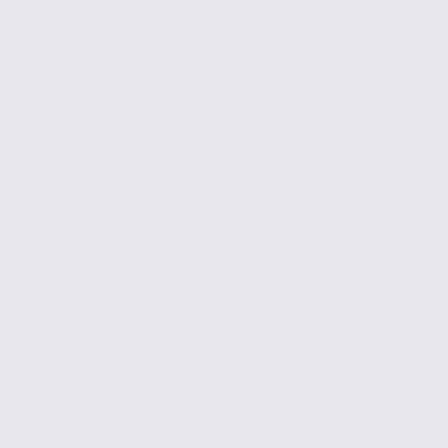Why I called in such a sinner, such a loser, times like this I really hate life. Cant wait to see what Ray says about this stuff.

I did and said some pretty stupid stuff while I was drunk the other week, and now it seems like everyone hates me. I probably deserve it. Its funny though, I prayed a while back that God make it possible that my "friends" would stop coming to my house. They have been a bad influence on me but I cant blame them really.

I think, I hope now Im really starting to be sorry towards God for my sins. Im trying harder now to stop sinning through Christ Who strengthens me. I guess we shall see where this goes.

Sorry I havent fellowshipped much with you all lately, but I have been feeling quite unworthy. Not like you are missing out anyway. Hopefully this is changing now.

I trust in God, He knows what He is doing. I really believe all that has come upon me is a good thing in the long run. God willing, I WILL BE SAVED!! Not giving up, this life will